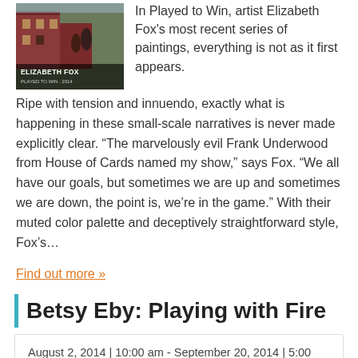[Figure (photo): Thumbnail image of Elizabeth Fox artwork with name overlay]
In Played to Win, artist Elizabeth Fox's most recent series of paintings, everything is not as it first appears.
Ripe with tension and innuendo, exactly what is happening in these small-scale narratives is never made explicitly clear. “The marvelously evil Frank Underwood from House of Cards named my show,” says Fox. “We all have our goals, but sometimes we are up and sometimes we are down, the point is, we’re in the game.” With their muted color palette and deceptively straightforward style, Fox’s…
Find out more »
Betsy Eby: Playing with Fire
August 2, 2014 | 10:00 am - September 20, 2014 | 5:00 pm
CMCA Rockport, 162 Russell Ave. Rockport, ME 04845 United States
+ Google Map